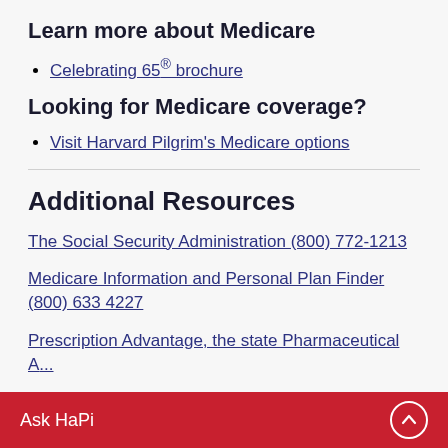Learn more about Medicare
Celebrating 65® brochure
Looking for Medicare coverage?
Visit Harvard Pilgrim's Medicare options
Additional Resources
The Social Security Administration (800) 772-1213
Medicare Information and Personal Plan Finder (800) 633 4227
Prescription Advantage, the state Pharmaceutical Assistance Program
Ask HaPi